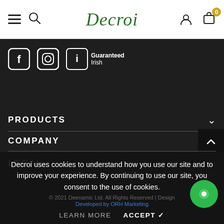Decroi
[Figure (logo): Social media icons: Facebook, Instagram, Guaranteed Irish badge]
PRODUCTS
COMPANY
LEGAL
Decroi uses cookies to understand how you use our site and to improve your experience. By continuing to use our site, you consent to the use of cookies.
© 2021 Deenamic Ltd. All Rights Reserved | Design Developed by ORH Marketing
LEARN MORE   ACCEPT ✓